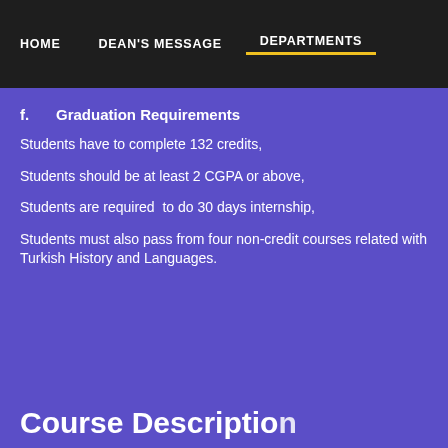HOME   DEAN'S MESSAGE   DEPARTMENTS
f.   Graduation Requirements
Students have to complete 132 credits,
Students should be at least 2 CGPA or above,
Students are required to do 30 days internship,
Students must also pass from four non-credit courses related with Turkish History and Languages.
Course Descriptio...